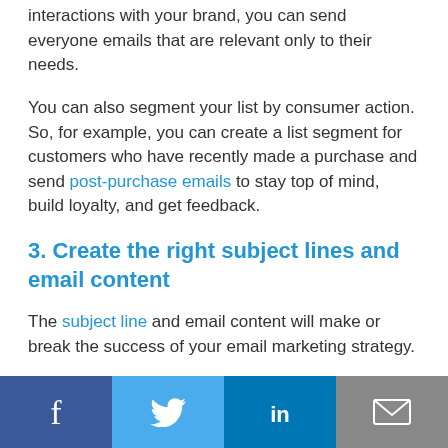interactions with your brand, you can send everyone emails that are relevant only to their needs.
You can also segment your list by consumer action. So, for example, you can create a list segment for customers who have recently made a purchase and send post-purchase emails to stay top of mind, build loyalty, and get feedback.
3. Create the right subject lines and email content
The subject line and email content will make or break the success of your email marketing strategy.
[Figure (other): Social sharing bar with Facebook, Twitter, LinkedIn, and email icons]